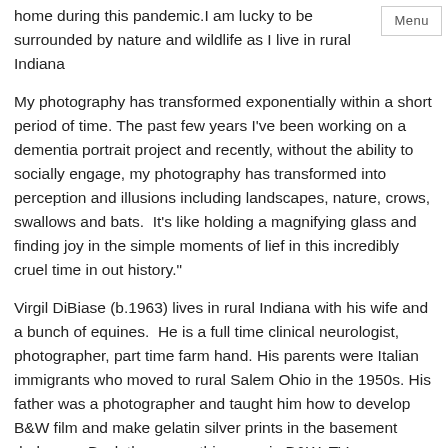home during this pandemic.I am lucky to be surrounded by nature and wildlife as I live in rural Indiana
My photography has transformed exponentially within a short period of time. The past few years I've been working on a dementia portrait project and recently, without the ability to socially engage, my photography has transformed into perception and illusions including landscapes, nature, crows, swallows and bats.  It's like holding a magnifying glass and finding joy in the simple moments of lief in this incredibly cruel time in out history."
Virgil DiBiase (b.1963) lives in rural Indiana with his wife and a bunch of equines.  He is a full time clinical neurologist, photographer, part time farm hand. His parents were Italian immigrants who moved to rural Salem Ohio in the 1950s. His father was a photographer and taught him how to develop B&W film and make gelatin silver prints in the basement darkroom. Back then everything was in B&W: TV, magazines, newspapers